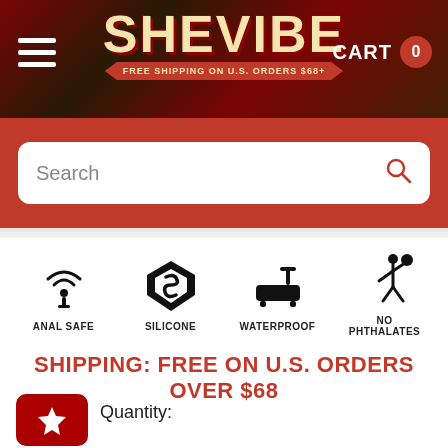[Figure (screenshot): SheVibe website header with logo, hamburger menu, and cart icon showing 0]
[Figure (screenshot): Red search bar section with white rounded search input and magnifying glass icon]
[Figure (infographic): Four product attribute icons: ANAL SAFE, SILICONE, WATERPROOF, NO PHTHALATES]
SHIPPING: FREE ON U.S. ORDERS OVER $68
Quantity: